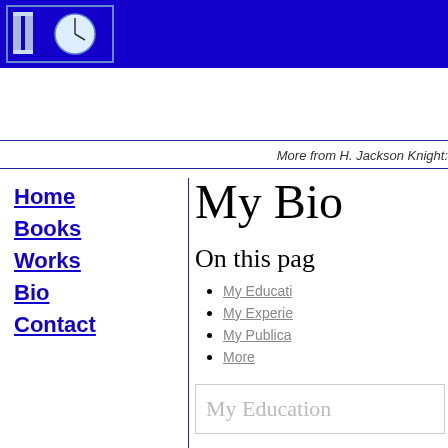[Figure (logo): University/institution logo with columns and clock on blue background header bar]
More from H. Jackson Knight:
Home
Books
Works
Bio
Contact
My Bio
On this page
My Education
My Experience
My Publications
More
My Education